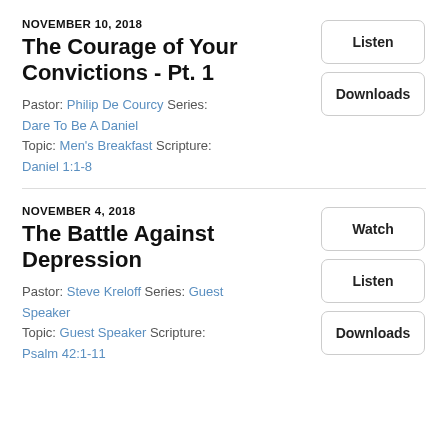NOVEMBER 10, 2018
The Courage of Your Convictions - Pt. 1
Pastor: Philip De Courcy Series: Dare To Be A Daniel
Topic: Men's Breakfast Scripture: Daniel 1:1-8
NOVEMBER 4, 2018
The Battle Against Depression
Pastor: Steve Kreloff Series: Guest Speaker
Topic: Guest Speaker Scripture: Psalm 42:1-11